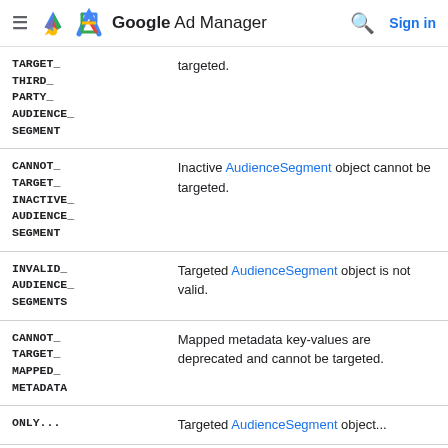Google Ad Manager — Sign in
| Enum Value | Description |
| --- | --- |
| CANNOT_TARGET_THIRD_PARTY_AUDIENCE_SEGMENT | targeted. |
| CANNOT_TARGET_INACTIVE_AUDIENCE_SEGMENT | Inactive AudienceSegment object cannot be targeted. |
| INVALID_AUDIENCE_SEGMENTS | Targeted AudienceSegment object is not valid. |
| CANNOT_TARGET_MAPPED_METADATA | Mapped metadata key-values are deprecated and cannot be targeted. |
| ONLY... | Targeted AudienceSegment object... |